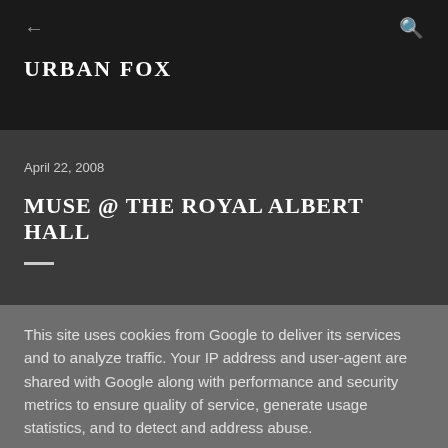URBAN FOX
April 22, 2008
MUSE @ THE ROYAL ALBERT HALL
This site uses cookies from Google to deliver its services and to analyze traffic. Your IP address and user-agent are shared with Google along with performance and security metrics to ensure quality of service, generate usage statistics, and to detect and address abuse.
LEARN MORE   OK